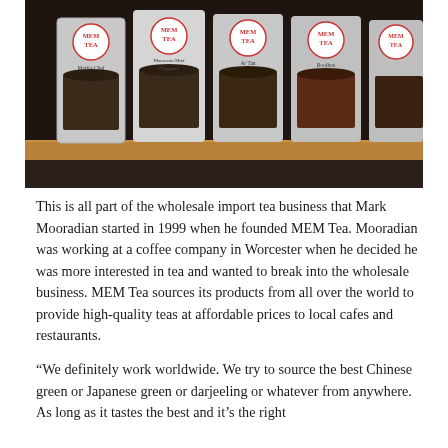[Figure (photo): Photograph of multiple MEM Tea branded packages of loose leaf tea standing upright on a wooden shelf. Visible labels include Mark's Chai, Moroccan Mint (Organic), Ar Tan, and Rooibos. Each package features the MEM Tea logo with a circular design.]
This is all part of the wholesale import tea business that Mark Mooradian started in 1999 when he founded MEM Tea. Mooradian was working at a coffee company in Worcester when he decided he was more interested in tea and wanted to break into the wholesale business. MEM Tea sources its products from all over the world to provide high-quality teas at affordable prices to local cafes and restaurants.
“We definitely work worldwide. We try to source the best Chinese green or Japanese green or darjeeling or whatever from anywhere. As long as it tastes the best and it’s the right